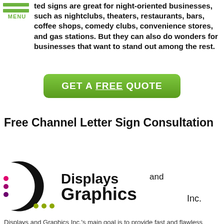[Figure (logo): Hamburger menu icon with two green horizontal lines and MENU label in green]
ted signs are great for night-oriented businesses, such as nightclubs, theaters, restaurants, bars, coffee shops, comedy clubs, convenience stores, and gas stations. But they can also do wonders for businesses that want to stand out among the rest.
[Figure (other): Green rounded rectangle button with white text: GET A FREE QUOTE]
Free Channel Letter Sign Consultation
[Figure (logo): Displays and Graphics Inc. logo with black crescent/moon shape and colorful dots on the left, and company name in large bold text on the right]
Displays and Graphics Inc.'s main goal is to provide fast and flawless services to produce and install custom-made channel letter signs for our clients.